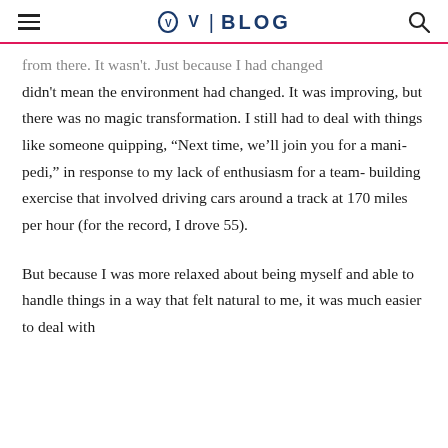OV | BLOG
from there. It wasn't. Just because I had changed didn't mean the environment had changed. It was improving, but there was no magic transformation. I still had to deal with things like someone quipping, “Next time, we’ll join you for a mani-pedi,” in response to my lack of enthusiasm for a team-building exercise that involved driving cars around a track at 170 miles per hour (for the record, I drove 55).
But because I was more relaxed about being myself and able to handle things in a way that felt natural to me, it was much easier to deal with